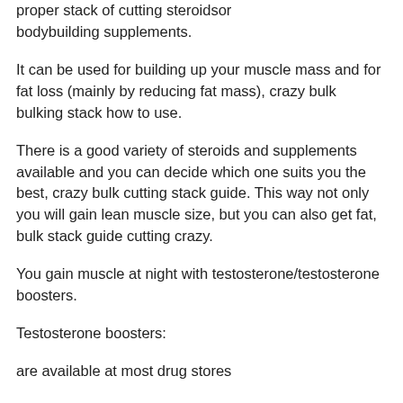proper stack of cutting steroidsor bodybuilding supplements.
It can be used for building up your muscle mass and for fat loss (mainly by reducing fat mass), crazy bulk bulking stack how to use.
There is a good variety of steroids and supplements available and you can decide which one suits you the best, crazy bulk cutting stack guide. This way not only you will gain lean muscle size, but you can also get fat, bulk stack guide cutting crazy.
You gain muscle at night with testosterone/testosterone boosters.
Testosterone boosters:
are available at most drug stores
are the best solution for gaining mass in